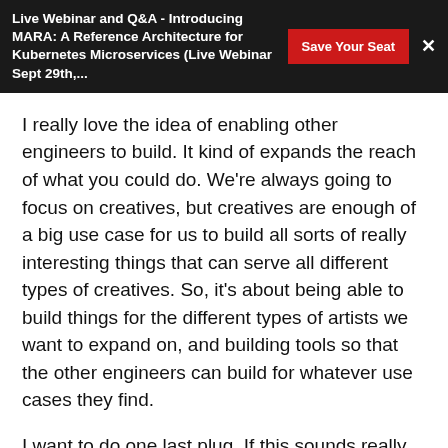Live Webinar and Q&A - Introducing MARA: A Reference Architecture for Kubernetes Microservices (Live Webinar Sept 29th,...
I really love the idea of enabling other engineers to build. It kind of expands the reach of what you could do. We're always going to focus on creatives, but creatives are enough of a big use case for us to build all sorts of really interesting things that can serve all different types of creatives. So, it's about being able to build things for the different types of artists we want to expand on, and building tools so that the other engineers can build for whatever use cases they find.
I want to do one last plug. If this sounds really interesting for you, please reach out to me. You can reach out to me on LinkedIn. Just give me a message so I know you're not a robot. And then,